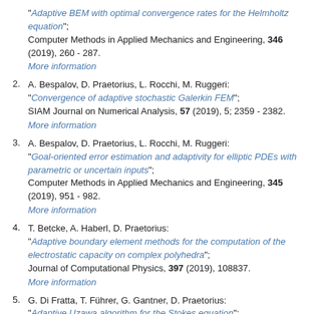"Adaptive BEM with optimal convergence rates for the Helmholtz equation"; Computer Methods in Applied Mechanics and Engineering, 346 (2019), 260 - 287.
More information
2. A. Bespalov, D. Praetorius, L. Rocchi, M. Ruggeri: "Convergence of adaptive stochastic Galerkin FEM"; SIAM Journal on Numerical Analysis, 57 (2019), 5; 2359 - 2382.
More information
3. A. Bespalov, D. Praetorius, L. Rocchi, M. Ruggeri: "Goal-oriented error estimation and adaptivity for elliptic PDEs with parametric or uncertain inputs"; Computer Methods in Applied Mechanics and Engineering, 345 (2019), 951 - 982.
More information
4. T. Betcke, A. Haberl, D. Praetorius: "Adaptive boundary element methods for the computation of the electrostatic capacity on complex polyhedra"; Journal of Computational Physics, 397 (2019), 108837.
More information
5. G. Di Fratta, T. Führer, G. Gantner, D. Praetorius: "Adaptive Uzawa algorithm for the Stokes equation"; ESAIM: Mathematical Modelling and Numerical Analysis, 53 (2019), 1841 - 1870.